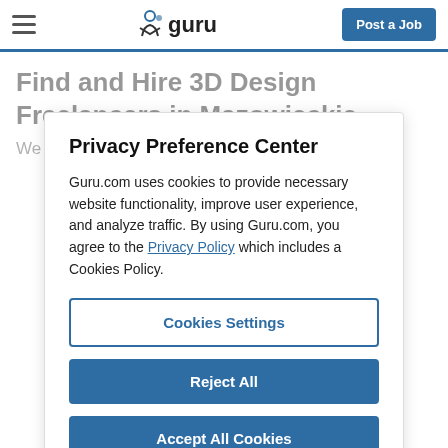guru — Post a Job
Find and Hire 3D Design Freelancers in Mazowieckie
We found 167 3D Design Freelancers offering 396...
Privacy Preference Center
Guru.com uses cookies to provide necessary website functionality, improve user experience, and analyze traffic. By using Guru.com, you agree to the Privacy Policy which includes a Cookies Policy.
Cookies Settings
Reject All
Accept All Cookies